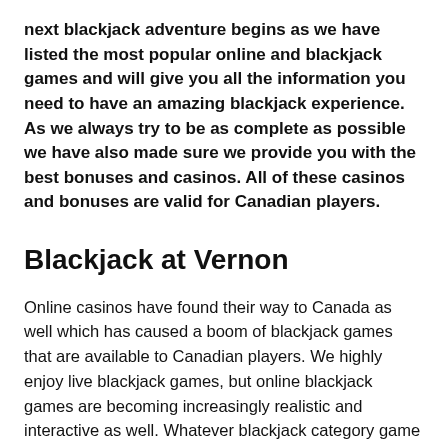next blackjack adventure begins as we have listed the most popular online and blackjack games and will give you all the information you need to have an amazing blackjack experience. As we always try to be as complete as possible we have also made sure we provide you with the best bonuses and casinos. All of these casinos and bonuses are valid for Canadian players.
Blackjack at Vernon
Online casinos have found their way to Canada as well which has caused a boom of blackjack games that are available to Canadian players. We highly enjoy live blackjack games, but online blackjack games are becoming increasingly realistic and interactive as well. Whatever blackjack category game you're after, our